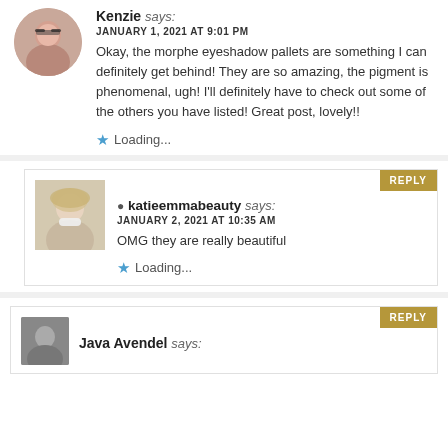[Figure (photo): Circular avatar of Kenzie, woman with glasses]
Kenzie says:
JANUARY 1, 2021 AT 9:01 PM
Okay, the morphe eyeshadow pallets are something I can definitely get behind! They are so amazing, the pigment is phenomenal, ugh! I'll definitely have to check out some of the others you have listed! Great post, lovely!!
Loading...
[Figure (photo): Rectangular avatar of katieemmabeauty, blonde woman]
katieemmabeauty says:
JANUARY 2, 2021 AT 10:35 AM
OMG they are really beautiful
Loading...
[Figure (photo): Small avatar of Java Avendel, black and white photo]
Java Avendel says: